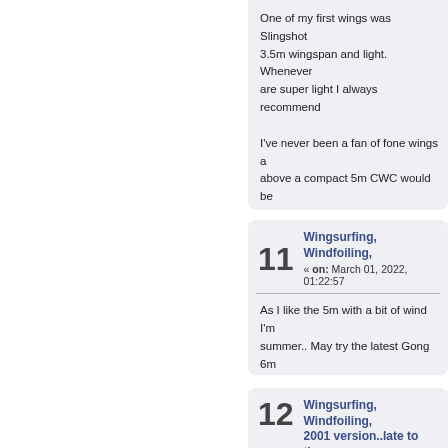One of my first wings was Slingshot 3.5m wingspan and light. Whenever are super light I always recommend
I've never been a fan of fone wings above a compact 5m CWC would be
11  Wingsurfing, Windfoiling, « on: March 01, 2022, 01:22:57
As I like the 5m with a bit of wind I'm summer.. May try the latest Gong 6m
12  Wingsurfing, Windfoiling, 2001 version..late to the p « on: March 01, 2022, 01:05:44 PM »
Ha, you enjoy a bargain as well. I jus for a little over a new large Duotone handles are brilliant and the smaller